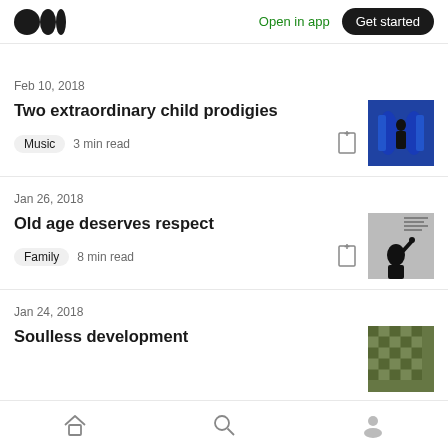Medium — Open in app  Get started
Feb 10, 2018
Two extraordinary child prodigies
Music  3 min read
Jan 26, 2018
Old age deserves respect
Family  8 min read
Jan 24, 2018
Soulless development